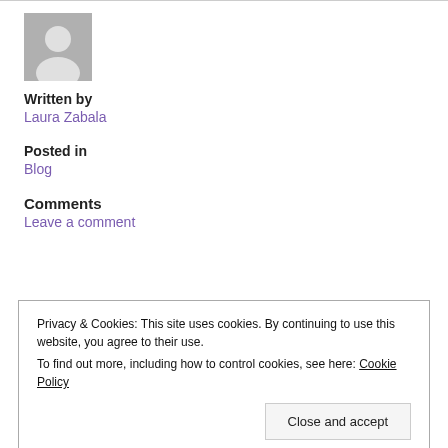[Figure (illustration): Default user avatar placeholder — grey square with white silhouette of a person]
Written by
Laura Zabala
Posted in
Blog
Comments
Leave a comment
Privacy & Cookies: This site uses cookies. By continuing to use this website, you agree to their use. To find out more, including how to control cookies, see here: Cookie Policy
Close and accept